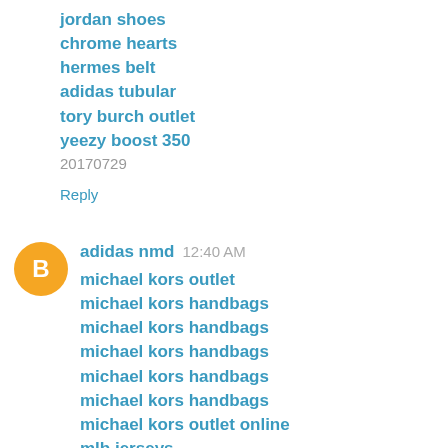jordan shoes
chrome hearts
hermes belt
adidas tubular
tory burch outlet
yeezy boost 350
20170729
Reply
adidas nmd  12:40 AM
michael kors outlet
michael kors handbags
michael kors handbags
michael kors handbags
michael kors handbags
michael kors handbags
michael kors outlet online
mlb jerseys
moncler jackets
mont blanc outlet